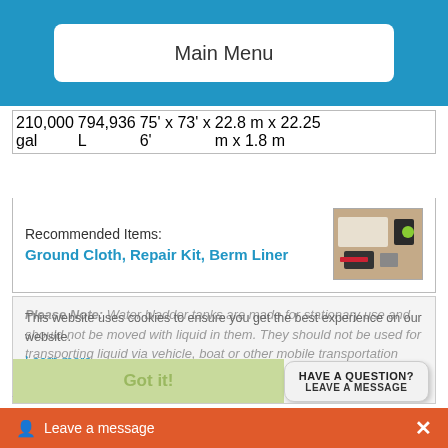Main Menu
| 210,000 gal | 794,936 L | 75' x 73' x 6' | 22.8 m x 22.25 m x 1.8 m |
| --- | --- | --- | --- |
Recommended Items: Ground Cloth, Repair Kit, Berm Liner
[Figure (photo): Photo of repair kit and accessories in a small case]
Please Note: Water bladder tanks are made for stationary use and should not be moved with liquid in them. They should not be used for transporting liquid via vehicle, boat or other mobile transportation method.
This website uses cookies to ensure you get the best experience on our website.
Learn more
Got it!
HAVE A QUESTION? LEAVE A MESSAGE
Additional
Leave a message